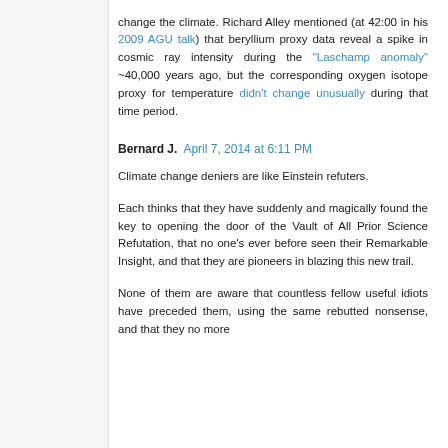change the climate. Richard Alley mentioned (at 42:00 in his 2009 AGU talk) that beryllium proxy data reveal a spike in cosmic ray intensity during the "Laschamp anomaly" ~40,000 years ago, but the corresponding oxygen isotope proxy for temperature didn't change unusually during that time period.
Bernard J.  April 7, 2014 at 6:11 PM
Climate change deniers are like Einstein refuters.
Each thinks that they have suddenly and magically found the key to opening the door of the Vault of All Prior Science Refutation, that no one's ever before seen their Remarkable Insight, and that they are pioneers in blazing this new trail.
None of them are aware that countless fellow useful idiots have preceded them, using the same rebutted nonsense, and that they no more than will ilk the whole The Duplicate of the